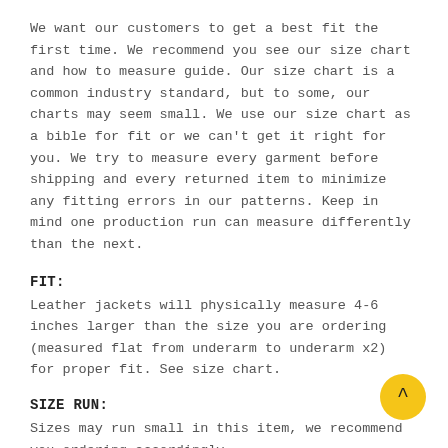We want our customers to get a best fit the first time. We recommend you see our size chart and how to measure guide. Our size chart is a common industry standard, but to some, our charts may seem small. We use our size chart as a bible for fit or we can't get it right for you. We try to measure every garment before shipping and every returned item to minimize any fitting errors in our patterns. Keep in mind one production run can measure differently than the next.
FIT:
Leather jackets will physically measure 4-6 inches larger than the size you are ordering (measured flat from underarm to underarm x2) for proper fit. See size chart.
SIZE RUN:
Sizes may run small in this item, we recommend you ordering accordingly.
RETURNS:
We have a 30 day refund, 60 day exchange policy. No need to call on exchanges. All exchanges (even for different items) are pre-approved for your convenience. With your purchase, you will receive a simple return form with a prepaid label which is also available online. Complete the simple form with a